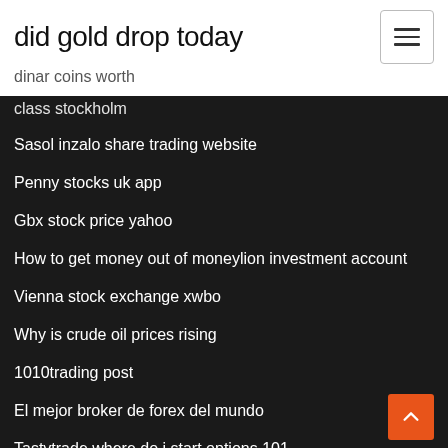did gold drop today
dinar coins worth
class stockholm
Sasol inzalo share trading website
Penny stocks uk app
Gbx stock price yahoo
How to get money out of moneylion investment account
Vienna stock exchange xwbo
Why is crude oil prices rising
1010trading post
El mejor broker de forex del mundo
Tastytrade where do i start options 101